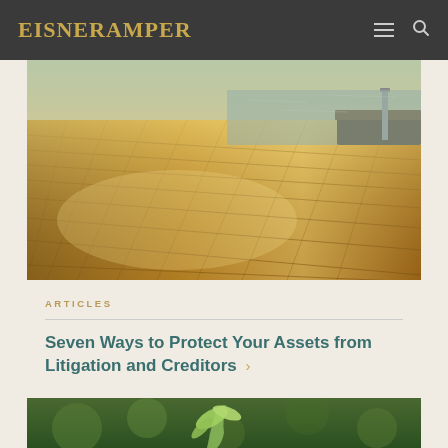EisnerAmper
[Figure (photo): Close-up photo of a wooden boat deck with teak planking illuminated by warm sunlight, with water and a railing visible in the background]
ARTICLES
Seven Ways to Protect Your Assets from Litigation and Creditors >
[Figure (photo): Close-up photo of a green plant seedling with bokeh background]